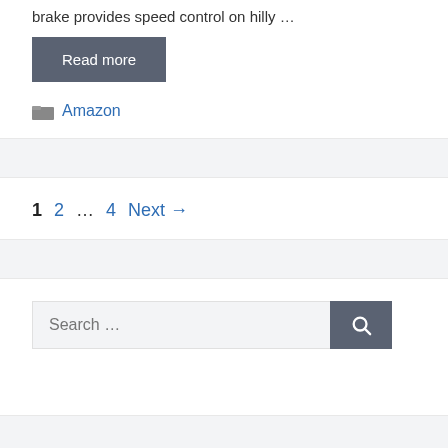brake provides speed control on hilly …
Read more
Amazon
1  2  …  4  Next →
Search …